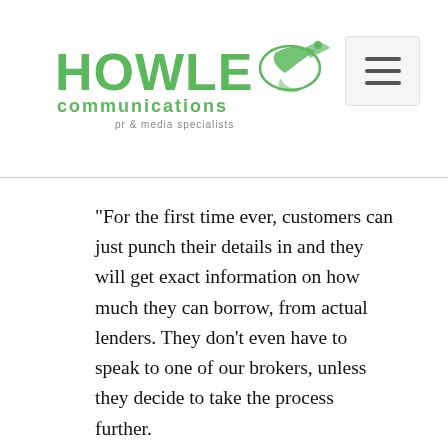Howle Communications – pr & media specialists
“For the first time ever, customers can just punch their details in and they will get exact information on how much they can borrow, from actual lenders. They don’t even have to speak to one of our brokers, unless they decide to take the process further.
“This level of information has only previously been available to professionals within the industry – it’s really exciting for us at My Simple Mortgage and I am also delighted on another level – the finance industry is seen as very London-centric but here we have one of the best innovations for customers in